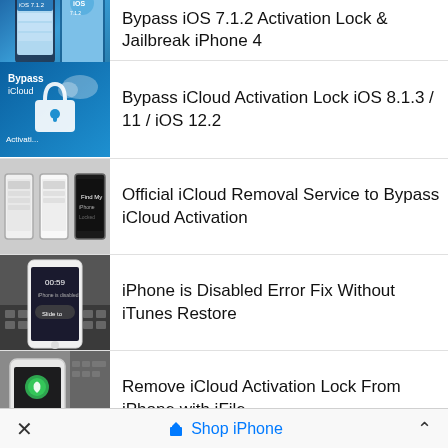Bypass iOS 7.1.2 Activation Lock & Jailbreak iPhone 4
Bypass iCloud Activation Lock iOS 8.1.3 / 11 / iOS 12.2
Official iCloud Removal Service to Bypass iCloud Activation
iPhone is Disabled Error Fix Without iTunes Restore
Remove iCloud Activation Lock From iPhone with iFile
10 Best Mac Torrent Sites in 2021 to Fulfill
× Shop iPhone ∧